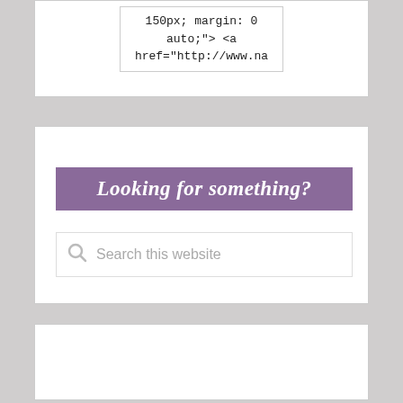[Figure (screenshot): Partial code snippet showing HTML text: '150px; margin: 0 auto;"> <a href="http://www.na' displayed in a bordered box]
[Figure (screenshot): Search widget box with purple italic heading 'Looking for something?' and a search input field with placeholder text 'Search this website']
[Figure (screenshot): An empty white bordered box at the bottom of the page]